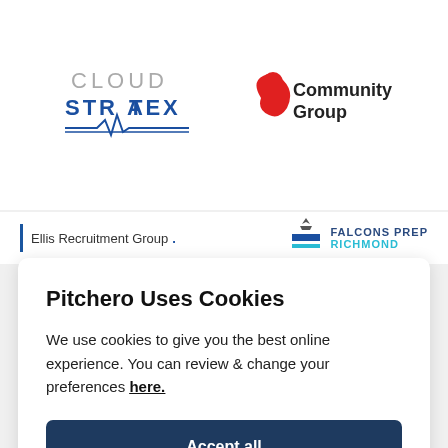[Figure (logo): Cloud Stratex logo - text in blue and grey with heartbeat line graphic]
[Figure (logo): Community Group logo - red figure icon with bold text]
[Figure (logo): Ellis Recruitment Group logo - blue bar and text]
[Figure (logo): Falcons Prep Richmond logo - bird silhouette, blue bars and text]
Pitchero Uses Cookies
We use cookies to give you the best online experience. You can review & change your preferences here.